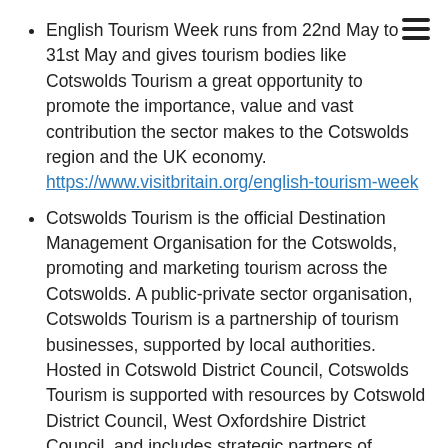English Tourism Week runs from 22nd May to 31st May and gives tourism bodies like Cotswolds Tourism a great opportunity to promote the importance, value and vast contribution the sector makes to the Cotswolds region and the UK economy. https://www.visitbritain.org/english-tourism-week
Cotswolds Tourism is the official Destination Management Organisation for the Cotswolds, promoting and marketing tourism across the Cotswolds. A public-private sector organisation, Cotswolds Tourism is a partnership of tourism businesses, supported by local authorities. Hosted in Cotswold District Council, Cotswolds Tourism is supported with resources by Cotswold District Council, West Oxfordshire District Council, and includes strategic partners of Cotswolds National Landscape, Cheltenham Borough Council & Marketing Cheltenham,